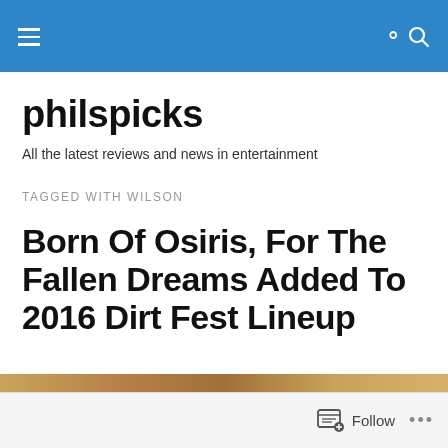philspicks — navigation header
philspicks
All the latest reviews and news in entertainment
TAGGED WITH WILSON
Born Of Osiris, For The Fallen Dreams Added To 2016 Dirt Fest Lineup
Follow